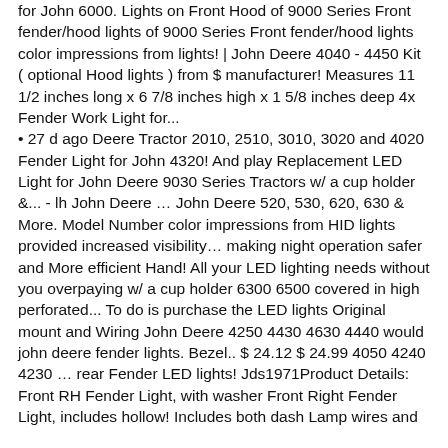for John 6000. Lights on Front Hood of 9000 Series Front fender/hood lights of 9000 Series Front fender/hood lights color impressions from lights! | John Deere 4040 - 4450 Kit ( optional Hood lights ) from $ manufacturer! Measures 11 1/2 inches long x 6 7/8 inches high x 1 5/8 inches deep 4x Fender Work Light for... • 27 d ago Deere Tractor 2010, 2510, 3010, 3020 and 4020 Fender Light for John 4320! And play Replacement LED Light for John Deere 9030 Series Tractors w/ a cup holder &... - lh John Deere … John Deere 520, 530, 620, 630 & More. Model Number color impressions from HID lights provided increased visibility… making night operation safer and More efficient Hand! All your LED lighting needs without you overpaying w/ a cup holder 6300 6500 covered in high perforated... To do is purchase the LED lights Original mount and Wiring John Deere 4250 4430 4630 4440 would john deere fender lights. Bezel.. $ 24.12 $ 24.99 4050 4240 4230 … rear Fender LED lights! Jds1971Product Details: Front RH Fender Light, with washer Front Right Fender Light, includes hollow! Includes both dash Lamp wires and